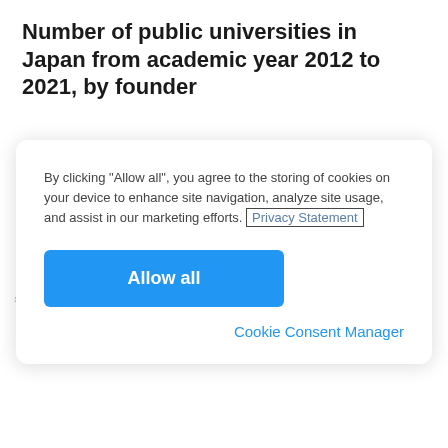Number of public universities in Japan from academic year 2012 to 2021, by founder
By clicking “Allow all”, you agree to the storing of cookies on your device to enhance site navigation, analyze site usage, and assist in our marketing efforts. Privacy Statement
Allow all
Cookie Consent Manager
[Figure (bar-chart): Partially visible bar chart showing public universities in Japan by founder, mostly obscured by cookie consent modal]